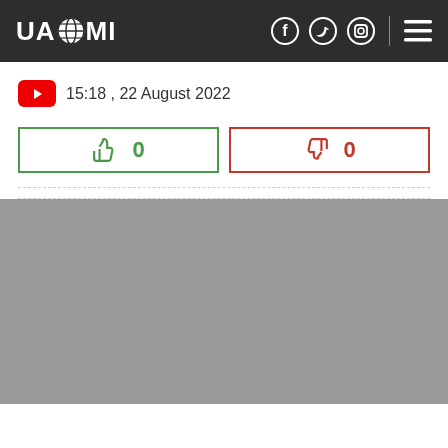UAZMI
15:18 , 22 August 2022
[Figure (screenshot): Like button with count 0 and Dislike button with count 0]
[Figure (photo): Gray placeholder image block]